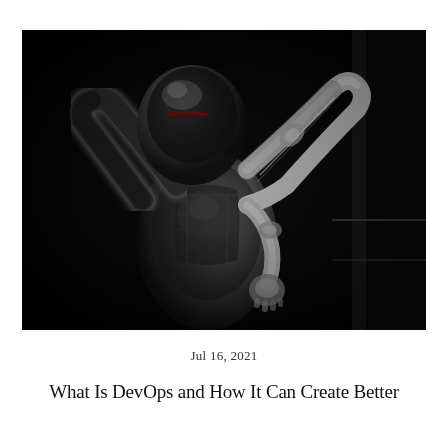[Figure (photo): A dark, dramatic photograph of a metallic humanoid robot figure with a reflective chrome/silver body against a black background. The robot appears to be in a posed or action stance with one arm raised. The image is high contrast with dark shadows and bright metallic highlights.]
Jul 16, 2021
What Is DevOps and How It Can Create Better